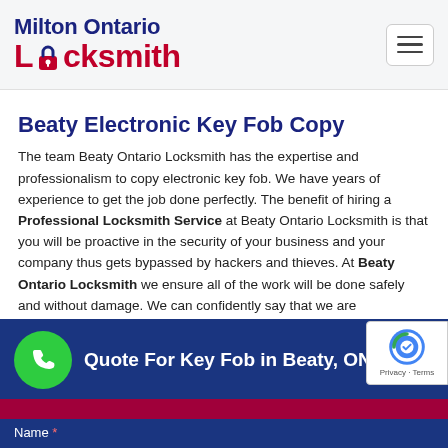Milton Ontario Locksmith
Beaty Electronic Key Fob Copy
The team Beaty Ontario Locksmith has the expertise and professionalism to copy electronic key fob. We have years of experience to get the job done perfectly. The benefit of hiring a Professional Locksmith Service at Beaty Ontario Locksmith is that you will be proactive in the security of your business and your company thus gets bypassed by hackers and thieves. At Beaty Ontario Locksmith we ensure all of the work will be done safely and without damage. We can confidently say that we are professionals, and you can place your trust in us.
[Figure (infographic): CTA banner with phone icon circle and text: Quote For Key Fob in Beaty, ON, on a dark blue background with a pink/crimson bar below and a form area starting with Name label.]